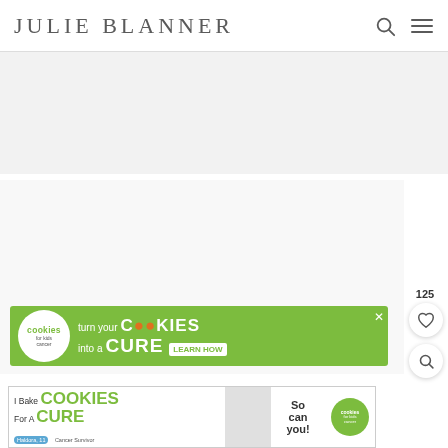JULIE BLANNER
[Figure (photo): Website screenshot showing Julie Blanner blog header and content images (white/light gray placeholder areas)]
[Figure (infographic): Advertisement banner: 'cookies for kids cancer — turn your COOKIES into a CURE LEARN HOW' on green background]
[Figure (infographic): Advertisement banner: 'I Bake COOKIES For A CURE — So can you! cookies for kids cancer, Haldora, 11 Cancer Survivor']